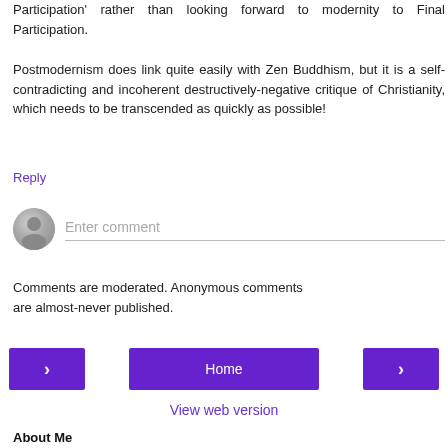Participation' rather than looking forward to modernity to Final Participation.
Postmodernism does link quite easily with Zen Buddhism, but it is a self-contradicting and incoherent destructively-negative critique of Christianity, which needs to be transcended as quickly as possible!
Reply
[Figure (other): Comment input area with user avatar and placeholder text 'Enter comment']
Comments are moderated. Anonymous comments are almost-never published.
[Figure (other): Navigation buttons: left arrow, Home, right arrow]
View web version
About Me